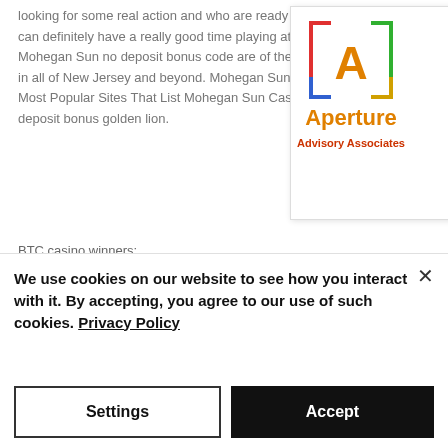looking for some real action and who are ready to take a bit of a risk can definitely have a really good time playing at this casino with the Mohegan Sun no deposit bonus code are of the leading online casinos in all of New Jersey and beyond. Mohegan Sun Casino Bonus Code. Most Popular Sites That List Mohegan Sun Casino Bonus Code, no deposit bonus golden lion.
[Figure (logo): Aperture Advisory Associates logo — a square bracket icon in red/green/blue/yellow with 'A' inside, text 'Aperture' in orange, 'Advisory Associates' in red below]
[Figure (other): Hamburger/menu icon — three horizontal lines]
BTC casino winners:
Fruit Mania - 175.6 eth
Excalibur - 461.8 usdt
Genie's Luck - 251.3 eth
We use cookies on our website to see how you interact with it. By accepting, you agree to our use of such cookies. Privacy Policy